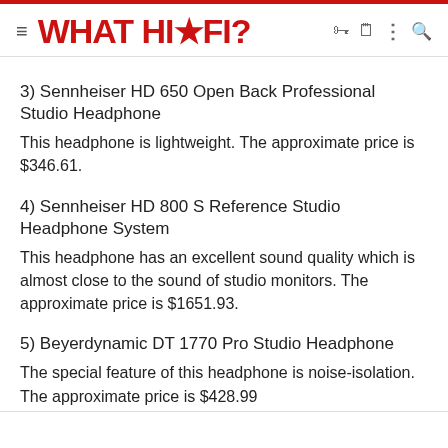WHAT HI-FI?
3) Sennheiser HD 650 Open Back Professional Studio Headphone
This headphone is lightweight. The approximate price is $346.61.
4) Sennheiser HD 800 S Reference Studio Headphone System
This headphone has an excellent sound quality which is almost close to the sound of studio monitors. The approximate price is $1651.93.
5) Beyerdynamic DT 1770 Pro Studio Headphone
The special feature of this headphone is noise-isolation. The approximate price is $428.99